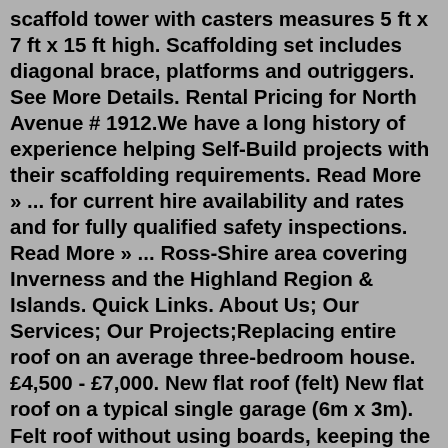scaffold tower with casters measures 5 ft x 7 ft x 15 ft high. Scaffolding set includes diagonal brace, platforms and outriggers. See More Details. Rental Pricing for North Avenue # 1912.We have a long history of experience helping Self-Build projects with their scaffolding requirements. Read More » ... for current hire availability and rates and for fully qualified safety inspections. Read More » ... Ross-Shire area covering Inverness and the Highland Region & Islands. Quick Links. About Us; Our Services; Our Projects;Replacing entire roof on an average three-bedroom house. £4,500 - £7,000. New flat roof (felt) New flat roof on a typical single garage (6m x 3m). Felt roof without using boards, keeping the initial structure in place. £840 - £1,150. New flat roof (other materials) New flat roof on a typical single garage (6m x 3m).Traffic Management. Make an enquiry. Sunbelt Rentals Utilities 01506 656938 Sunbelt Rentals Traffic Management 03700 500792. Depot Information. Specialisms. Sunbelt Rentals Insurance specialise in Traffic management & utilitie